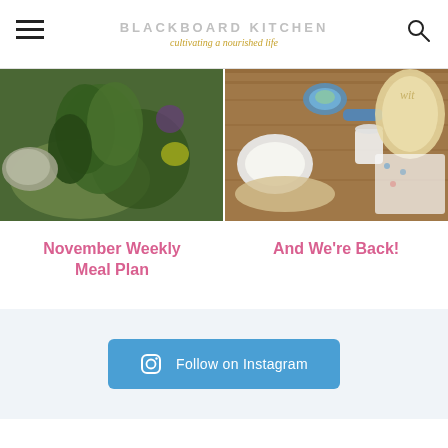BLACKBOARD KITCHEN — cultivating a nourished life
[Figure (photo): Overhead photo of kale and various vegetables including cauliflower, beets, and lemon on a dark surface]
[Figure (photo): Overhead photo of cooking ingredients on a wooden cutting board with bowls, measuring cups, and flatbread]
November Weekly Meal Plan
And We're Back!
Follow on Instagram